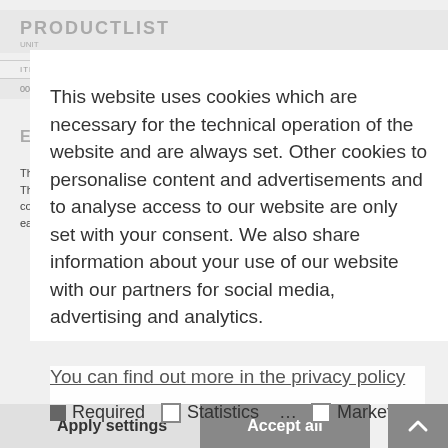PRODUCTLIST
| ITEM | PRODUCT | COLOR | STRENGTH/UNIT |
| --- | --- | --- | --- |
| 009 12005 | Excellence Wireless HDMI Kit | 3D | Black | Set of 1 |
EXAMPLE OF USE
The kit supports Full HD, 3D and multi-channel audio formats. The set includes a transmitter and a receiver which are connected to the source or the TV via the HDMI interface ease of use, commands from IR remote controls can be
This website uses cookies which are necessary for the technical operation of the website and are always set. Other cookies to personalise content and advertisements and to analyse access to our website are only set with your consent. We also share information about your use of our website with our partners for social media, advertising and analytics.
You can find out more in the privacy policy
Required   Statistics   Marketing
Apply settings
Accept all